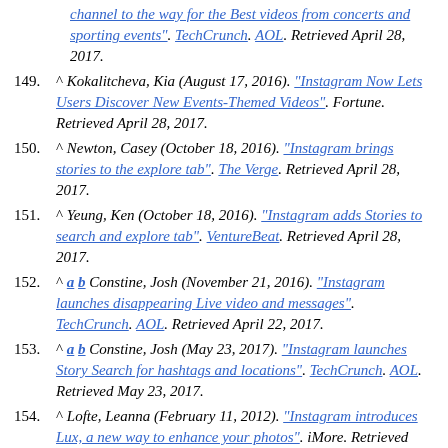(partial) ...channel to the way for the Best videos from concerts and sporting events". TechCrunch. AOL. Retrieved April 28, 2017.
149. ^ Kokalitcheva, Kia (August 17, 2016). "Instagram Now Lets Users Discover New Events-Themed Videos". Fortune. Retrieved April 28, 2017.
150. ^ Newton, Casey (October 18, 2016). "Instagram brings stories to the explore tab". The Verge. Retrieved April 28, 2017.
151. ^ Yeung, Ken (October 18, 2016). "Instagram adds Stories to search and explore tab". VentureBeat. Retrieved April 28, 2017.
152. ^ a b Constine, Josh (November 21, 2016). "Instagram launches disappearing Live video and messages". TechCrunch. AOL. Retrieved April 22, 2017.
153. ^ a b Constine, Josh (May 23, 2017). "Instagram launches Story Search for hashtags and locations". TechCrunch. AOL. Retrieved May 23, 2017.
154. ^ Lofte, Leanna (February 11, 2012). "Instagram introduces Lux, a new way to enhance your photos". iMore. Retrieved April 30, 2017.
155. ^ White, Charlie (February 11, 2012). "Instagram Upgrade Introduces a Powerful New Feature". Mashable. Retrieved April 30, 2017.
156. ^ "Five New Filters". Instagram Blog. Archived from the...